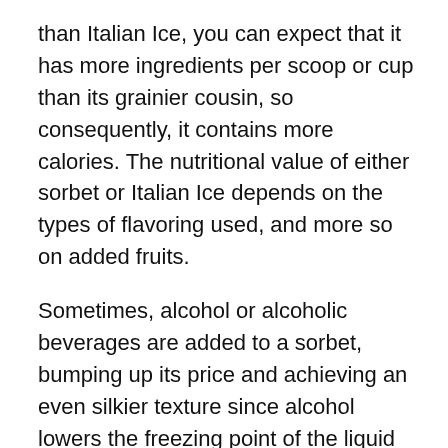than Italian Ice, you can expect that it has more ingredients per scoop or cup than its grainier cousin, so consequently, it contains more calories. The nutritional value of either sorbet or Italian Ice depends on the types of flavoring used, and more so on added fruits.
Sometimes, alcohol or alcoholic beverages are added to a sorbet, bumping up its price and achieving an even silkier texture since alcohol lowers the freezing point of the liquid base.
Italian Ice Vs Sherbet
Although the term sherbet can be used interchangeably with sorbet, they're not exactly the